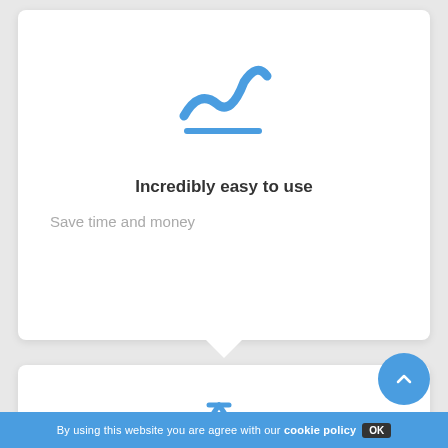[Figure (illustration): Blue line chart icon with a horizontal underline, representing analytics or activity tracking]
Incredibly easy to use
Save time and money
[Figure (illustration): Blue 'Read More' button]
[Figure (illustration): Partial blue bicycle/pie chart icon visible at bottom of page]
[Figure (illustration): Blue circular scroll-to-top button with upward caret arrow]
By using this website you are agree with our cookie policy  OK